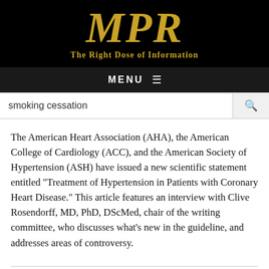[Figure (logo): MPR logo with text 'The Right Dose of Information' on black background]
MENU ≡
smoking cessation
The American Heart Association (AHA), the American College of Cardiology (ACC), and the American Society of Hypertension (ASH) have issued a new scientific statement entitled "Treatment of Hypertension in Patients with Coronary Heart Disease." This article features an interview with Clive Rosendorff, MD, PhD, DScMed, chair of the writing committee, who discusses what's new in the guideline, and addresses areas of controversy.